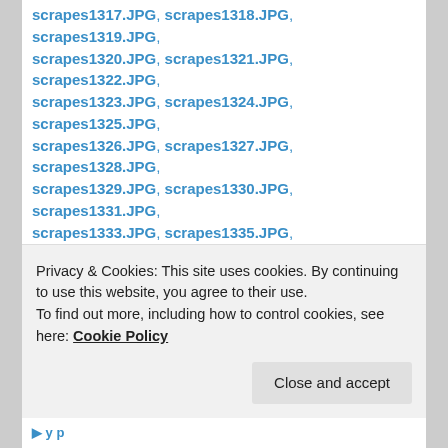scrapes1317.JPG, scrapes1318.JPG, scrapes1319.JPG, scrapes1320.JPG, scrapes1321.JPG, scrapes1322.JPG, scrapes1323.JPG, scrapes1324.JPG, scrapes1325.JPG, scrapes1326.JPG, scrapes1327.JPG, scrapes1328.JPG, scrapes1329.JPG, scrapes1330.JPG, scrapes1331.JPG, scrapes1333.JPG, scrapes1335.JPG, scrapes1337.JPG, scrapes1338.JPG, scrapes1339.JPG, scrapes1340.JPG, scrapes1341.JPG, scrapes1343.JPG, scrapes1344.JPG, scrapes1346.JPG, scrapes1347.JPG, scrapes1349.JPG, scrapes1350.JPG, scrapes1352.JPG, scrapes1353.JPG, scrapes1354.JPG, scrapes1355.JPG, scrapes1356.JPG, scrapes1357.JPG, scrapes1358.JPG, scrapes1359.JPG, scrapes1360.JPG, scrapes1361.JPG, scrapes1362.JPG, scrapes1363.JPG, scrapes1364.JPG, scrapes1366.JPG, scrapes1367.jpg, scrapes1368.jpg, scrapes1369.jpg, scrapes1371.jpg, scrapes1372.jpg, scrapes1373.jpg, scrapes1374.jpg, scrapes1375.jpg, scrapes1376.jpg
Privacy & Cookies: This site uses cookies. By continuing to use this website, you agree to their use.
To find out more, including how to control cookies, see here: Cookie Policy